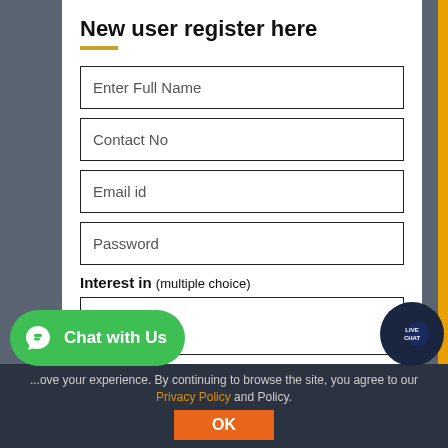New user register here
Enter Full Name
Contact No
Email id
Password
Interest in (multiple choice)
[Figure (screenshot): Chat with Us button (WhatsApp style, green rounded)]
...ove your experience. By continuing to browse the site, you agree to our Privacy Policy and Policy.
[Figure (logo): Live Chat badge icon]
OK